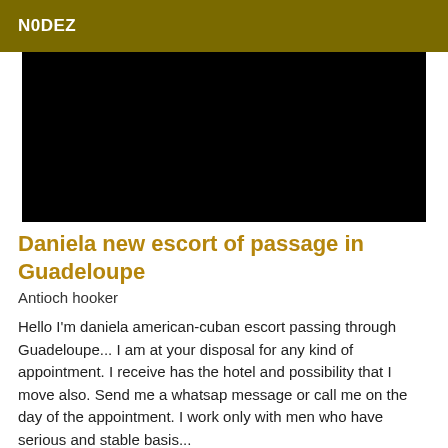N0DEZ
[Figure (photo): Large black rectangle representing a photo or video placeholder]
Daniela new escort of passage in Guadeloupe
Antioch hooker
Hello I'm daniela american-cuban escort passing through Guadeloupe... I am at your disposal for any kind of appointment. I receive has the hotel and possibility that I move also. Send me a whatsap message or call me on the day of the appointment. I work only with men who have serious and stable basis...